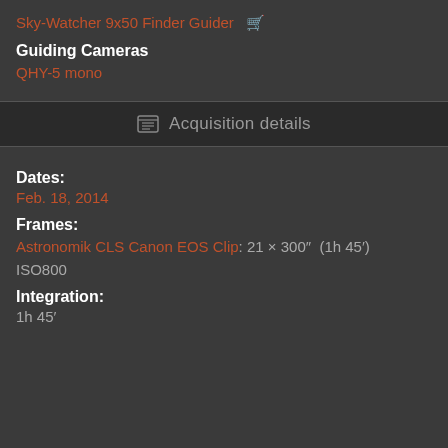Sky-Watcher 9x50 Finder Guider 🛒
Guiding Cameras
QHY-5 mono
Acquisition details
Dates:
Feb. 18, 2014
Frames:
Astronomik CLS Canon EOS Clip: 21 × 300″ (1h 45′) ISO800
Integration:
1h 45′